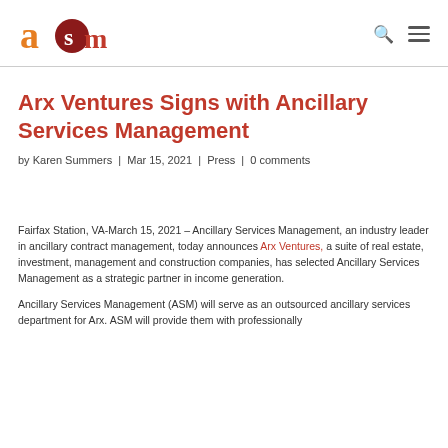ASM logo header with search and menu icons
Arx Ventures Signs with Ancillary Services Management
by Karen Summers | Mar 15, 2021 | Press | 0 comments
Fairfax Station, VA-March 15, 2021 – Ancillary Services Management, an industry leader in ancillary contract management, today announces Arx Ventures, a suite of real estate, investment, management and construction companies, has selected Ancillary Services Management as a strategic partner in income generation.
Ancillary Services Management (ASM) will serve as an outsourced ancillary services department for Arx. ASM will provide them with professionally